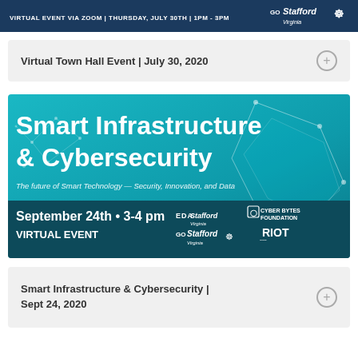[Figure (infographic): Dark navy banner with text: VIRTUAL EVENT VIA ZOOM | THURSDAY, JULY 30TH | 1PM - 3PM and Go Stafford Virginia logo on right]
Virtual Town Hall Event | July 30, 2020
[Figure (infographic): Smart Infrastructure & Cybersecurity event banner. Teal/cyan background with network nodes graphic and geometric figure. Large white bold title: Smart Infrastructure & Cybersecurity. Subtitle: The future of Smart Technology — Security, Innovation, and Data. Dark teal bottom bar: September 24th • 3-4 pm VIRTUAL EVENT with logos: EDA Stafford, Cyber Bytes Foundation, Go Stafford Virginia, RIOT]
Smart Infrastructure & Cybersecurity | Sept 24, 2020